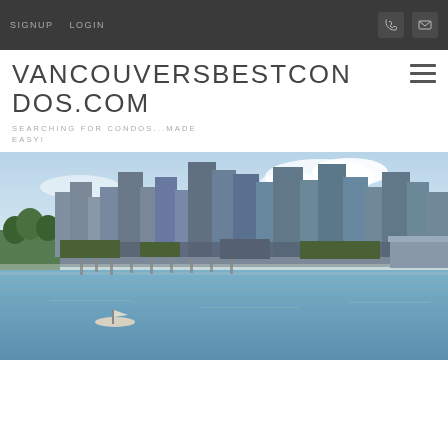SIGNUP   LOGIN
VANCOUVERSBESTCONDOS.COM
SEARCHING FOR CONDOS...MADE EASY!
[Figure (photo): Panoramic photo of Vancouver skyline with waterfront marina, high-rise condos and city skyline reflected in the water, with a small boat in the foreground]